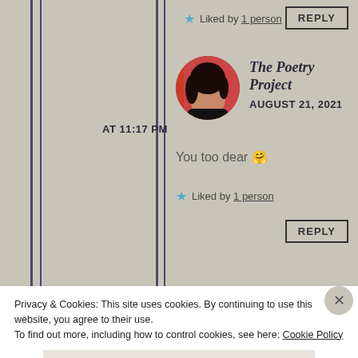★ Liked by 1 person
REPLY
[Figure (photo): Circular avatar photo of a woman with dark hair, wearing dark clothing, with a red background]
The Poetry Project
AUGUST 21, 2021 AT 11:17 PM
You too dear 🤗
★ Liked by 1 person
REPLY
Privacy & Cookies: This site uses cookies. By continuing to use this website, you agree to their use.
To find out more, including how to control cookies, see here: Cookie Policy
Close and accept